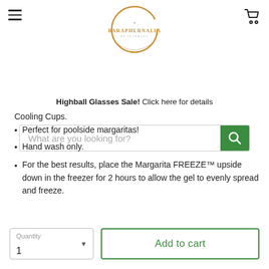[Figure (logo): Baraphernalia logo inside a decorative circular brushstroke ring]
What are you looking for?
Highball Glasses Sale!  Click here for details
Cooling Cups.
Perfect for poolside margaritas!
Hand wash only.
For the best results, place the Margarita FREEZE™ upside down in the freezer for 2 hours to allow the gel to evenly spread and freeze.